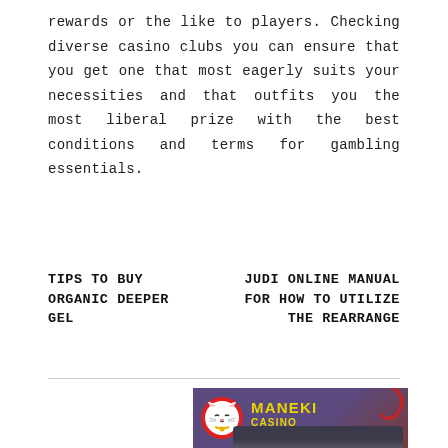rewards or the like to players. Checking diverse casino clubs you can ensure that you get one that most eagerly suits your necessities and that outfits you the most liberal prize with the best conditions and terms for gambling essentials.
TIPS TO BUY ORGANIC DEEPER GEL
JUDI ONLINE MANUAL FOR HOW TO UTILIZE THE REARRANGE
[Figure (logo): Maneki Casino logo on purple/dark background with red circle cat mascot and yellow stylized text reading MANEKI CASINO, with decorative elements including a red swirl and dark roof/pagoda imagery]